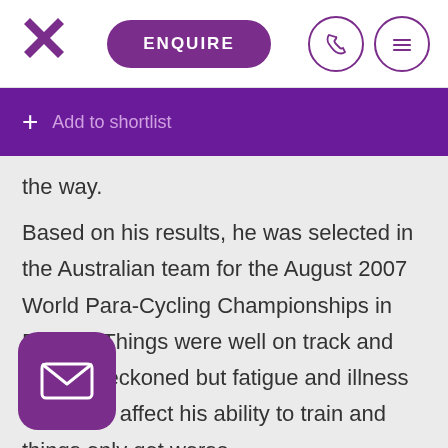X logo | ENQUIRE | phone icon | menu icon
+ Add to shortlist
the way.
Based on his results, he was selected in the Australian team for the August 2007 World Para-Cycling Championships in France. Things were well on track and Beijing beckoned but fatigue and illness started to affect his ability to train and things only got worse.
Career: Michael pulled out of the team early in